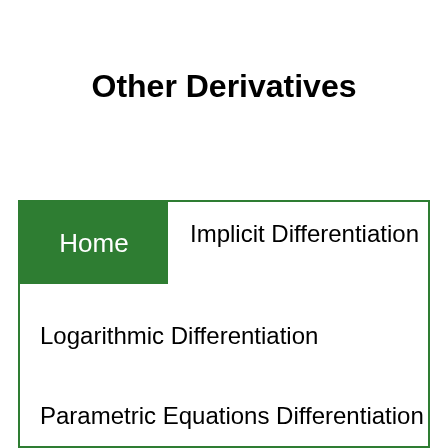Other Derivatives
Home
Implicit Differentiation
Logarithmic Differentiation
Parametric Equations Differentiation
Higher Order Derivatives